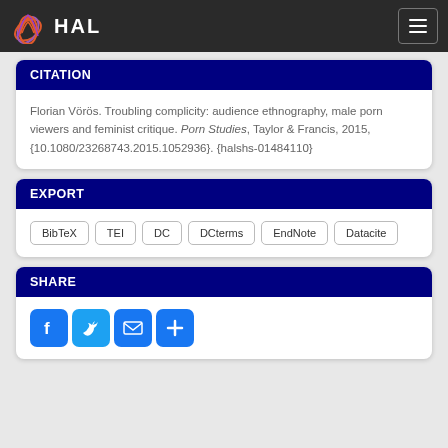HAL
CITATION
Florian Vörös. Troubling complicity: audience ethnography, male porn viewers and feminist critique. Porn Studies, Taylor & Francis, 2015, {10.1080/23268743.2015.1052936}. {halshs-01484110}
EXPORT
BibTeX
TEI
DC
DCterms
EndNote
Datacite
SHARE